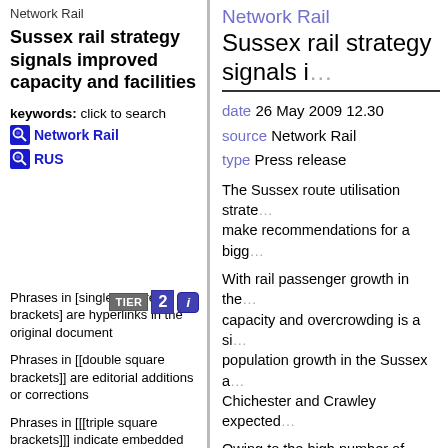Network Rail
Sussex rail strategy signals improved capacity and facilities
keywords: click to search
Network Rail
RUS
[Figure (infographic): TIER 2 badge with info button]
Phrases in [single square brackets] are hyperlinks in the original document
Phrases in [[double square brackets]] are editorial additions or corrections
Phrases in [[[triple square brackets]]] indicate embedded images or graphics
Network Rail
Sussex rail strategy signals i...
date 26 May 2009 12.30
source Network Rail
type Press release
The Sussex route utilisation strate... make recommendations for a bigg...
With rail passenger growth in the ... capacity and overcrowding is a si... population growth in the Sussex a... Chichester and Crawley expected...
Owing to the high number of train... services, particularly on routes int... opportunities to run longer trains...